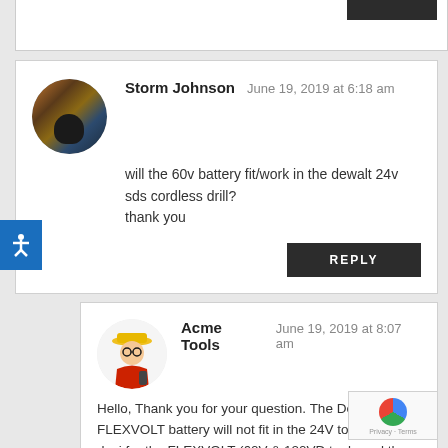Storm Johnson — June 19, 2019 at 6:18 am
will the 60v battery fit/work in the dewalt 24v sds cordless drill?
thank you
REPLY
Acme Tools — June 19, 2019 at 8:07 am
Hello, Thank you for your question. The DeWalt FLEXVOLT battery will not fit in the 24V tools. It is desi for the FLEXVOLT (60V & 120VD tools and the 20V MAX tools.